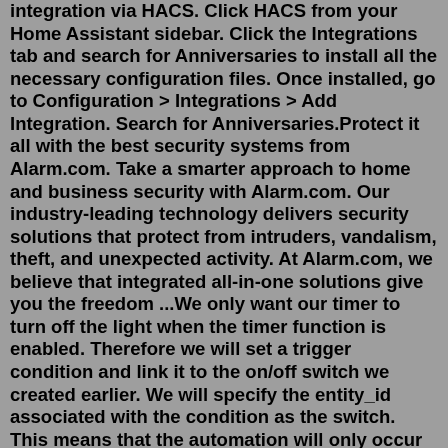integration via HACS. Click HACS from your Home Assistant sidebar. Click the Integrations tab and search for Anniversaries to install all the necessary configuration files. Once installed, go to Configuration > Integrations > Add Integration. Search for Anniversaries.Protect it all with the best security systems from Alarm.com. Take a smarter approach to home and business security with Alarm.com. Our industry-leading technology delivers security solutions that protect from intruders, vandalism, theft, and unexpected activity. At Alarm.com, we believe that integrated all-in-one solutions give you the freedom ...We only want our timer to turn off the light when the timer function is enabled. Therefore we will set a trigger condition and link it to the on/off switch we created earlier. We will specify the entity_id associated with the condition as the switch. This means that the automation will only occur if the light_timer_enabled switch is turned on. 1.Overview. The Lenovo Smart Clock Essential is the ultimate smart clock for any room. With a big & bold